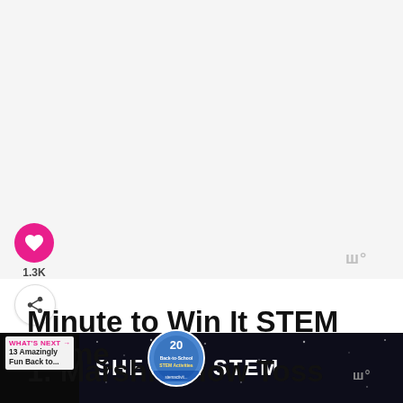[Figure (screenshot): White/light gray top area placeholder for image content]
[Figure (other): Pink heart/save button with 1.3K count and share button on left sidebar]
Minute to Win It STEM Game
1. Marshmallow Toss
WHAT'S NEXT → 13 Amazingly Fun Back to...
[Figure (illustration): Circular thumbnail image for 'Back-to-School STEM Activities' with number 20]
[Figure (screenshot): SHE CAN STEM dark background banner with white text at bottom of page]
SHE CAN STEM